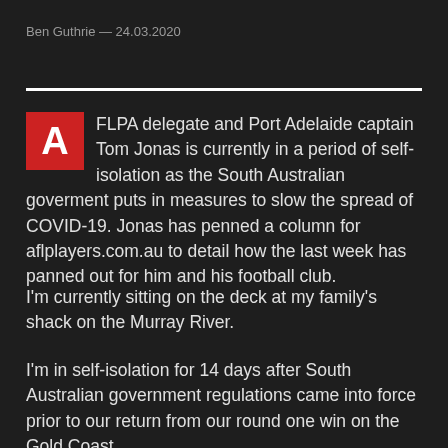Ben Guthrie — 24.03.2020
FLPA delegate and Port Adelaide captain Tom Jonas is currently in a period of self-isolation as the South Australian goverment puts in measures to slow the spread of COVID-19. Jonas has penned a column for aflplayers.com.au to detail how the last week has panned out for him and his football club.
I'm currently sitting on the deck at my family's shack on the Murray River.
I'm in self-isolation for 14 days after South Australian government regulations came into force prior to our return from our round one win on the Gold Coast.